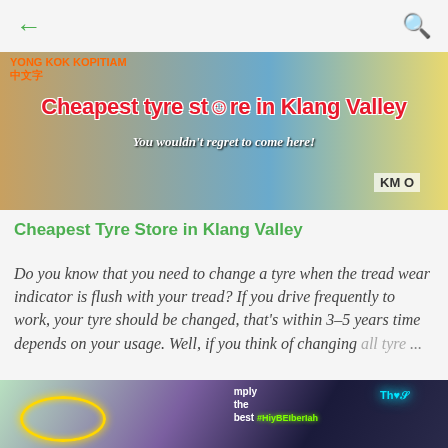← (back) 🔍 (search)
[Figure (photo): Banner image for 'Cheapest tyre store in Klang Valley' showing a collage of shop fronts, tyres, and a blue warehouse. Red text reads 'Cheapest tyre store in Klang Valley', white italic text reads 'You wouldn't regret to come here!', and 'KM O' text in bottom right.]
Cheapest Tyre Store in Klang Valley
Do you know that you need to change a tyre when the tread wear indicator is flush with your tread? If you drive frequently to work, your tyre should be changed, that's within 3-5 years time depends on your usage. Well, if you think of changing all tyre… ...
[Figure (photo): Partial image showing neon lights and decorations, likely from a tyre shop or event, with neon text and glowing circular shapes.]